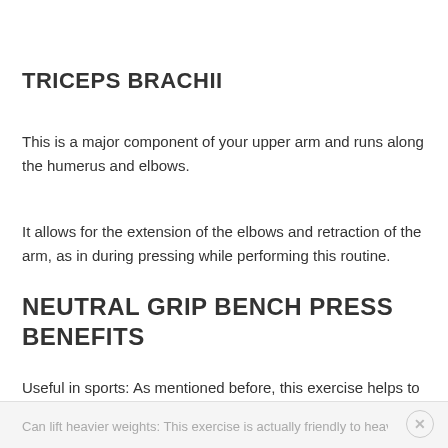TRICEPS BRACHII
This is a major component of your upper arm and runs along the humerus and elbows.
It allows for the extension of the elbows and retraction of the arm, as in during pressing while performing this routine.
NEUTRAL GRIP BENCH PRESS BENEFITS
Useful in sports: As mentioned before, this exercise helps to protect your shoulder hence increasing your sports performance.
Can lift heavier weights: This exercise is actually friendly to heavier